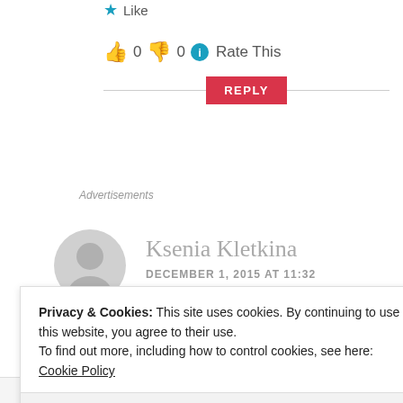★ Like
👍 0 👎 0 ℹ Rate This
REPLY
Advertisements
[Figure (illustration): Grey circular avatar placeholder icon]
Ksenia Kletkina
DECEMBER 1, 2015 AT 11:32
Privacy & Cookies: This site uses cookies. By continuing to use this website, you agree to their use.
To find out more, including how to control cookies, see here: Cookie Policy
Close and accept